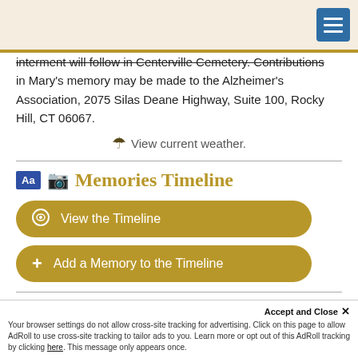interment will follow in Centerville Cemetery. Contributions in Mary's memory may be made to the Alzheimer's Association, 2075 Silas Deane Highway, Suite 100, Rocky Hill, CT 06067.
View current weather.
Memories Timeline
View the Timeline
Add a Memory to the Timeline
Guestbook
Accept and Close ✕
Your browser settings do not allow cross-site tracking for advertising. Click on this page to allow AdRoll to use cross-site tracking to tailor ads to you. Learn more or opt out of this AdRoll tracking by clicking here. This message only appears once.